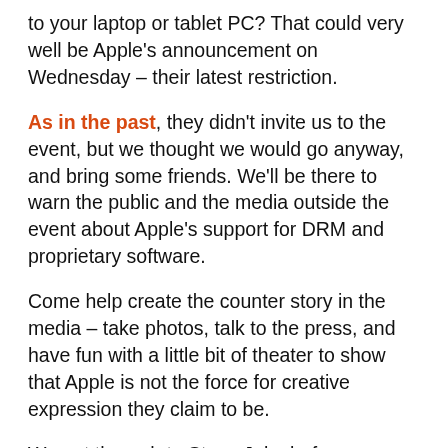to your laptop or tablet PC? That could very well be Apple's announcement on Wednesday – their latest restriction.
As in the past, they didn't invite us to the event, but we thought we would go anyway, and bring some friends. We'll be there to warn the public and the media outside the event about Apple's support for DRM and proprietary software.
Come help create the counter story in the media – take photos, talk to the press, and have fun with a little bit of theater to show that Apple is not the force for creative expression they claim to be.
We got through to Steve Jobs before on music DRM, and convinced iTunes to drop it. We know we can have success here. But we need to repeat that effort and show that DRM on Apple computers means that people who are actually interested